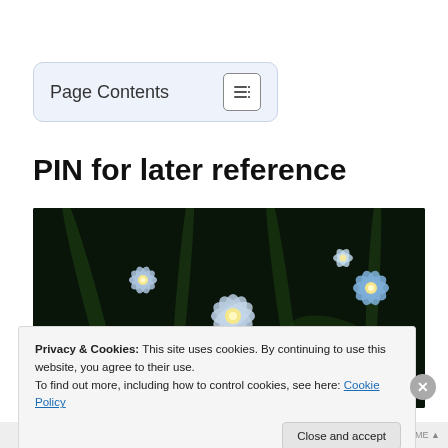Page Contents
PIN for later reference
[Figure (photo): Close-up photograph of small blue forget-me-not flowers against a dark background with green stems and leaves.]
Privacy & Cookies: This site uses cookies. By continuing to use this website, you agree to their use.
To find out more, including how to control cookies, see here: Cookie Policy
Close and accept